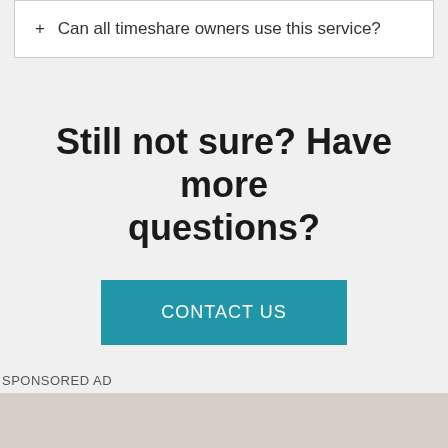+ Can all timeshare owners use this service?
Still not sure? Have more questions?
CONTACT US
SPONSORED AD